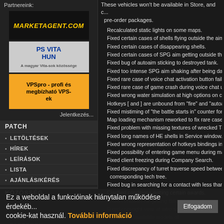Partnereink:
[Figure (logo): MarketAgent.com banner - yellow italic text on black background]
[Figure (logo): PS Vita HUN banner - blue text on light grey background]
[Figure (logo): VPSpro - profi és megbízható VPS-ek - orange banner with black text]
Jelentkezés...
PATCH
LETÖLTÉSEK
HÍREK
LEÍRÁSOK
LISTA
AJÁNLÁS/KÉRÉS
KÖZÖSSÉG
FÓRUM
TAGLISTÁ
FACEBOOK
RÓLUNK
These vehicles won't be available in Store, and can only be obtained in pre-order packages.
Recalculated static lights on some maps.
Fixed certain cases of shells flying outside the aim ci...
Fixed certain cases of disappearing shells.
Fixed certain cases of SPG aim getting outside the m...
Fixed bug of autoaim sticking to destroyed tank.
Fixed too intense SPG aim shaking after being dama...
Fixed rare case of voice chat activation button failure...
Fixed rare case of game crash during voice chat usag...
Fixed wrong water simulation at high options on certa...
Hotkeys [ and ] are unbound from "fire" and "autoaim"...
Fixed mistiming of "the battle starts in" counter for dif...
Map loading mechanism reworked to fix rare case of ...
Fixed problem with missing textures of wrecked T-28...
Fixed long names of HE shells in Service window.
Fixed wrong representation of hotkeys bindings in Op...
Fixed possibility of entering game menu during map l...
Fixed client freezing during Company Search.
Fixed discrepancy of turret traverse speed between t... corresponding tech tree.
Fixed bug in searching for a contact with less than 4 s...
Clarified conditions getting certain awards.
Fixed condition for getting Billotte's award.
Fixed copyright year at intro screen and EULA.
Removed...available models of...
Removed test gun "128mm_testgun"...
Recompiled sounds output library.
Fixed map pictures and icon list...
Ez a weboldal a funkcióinak hiánytalan működése érdekében cookie-kat használ. További információ
Elfogadom